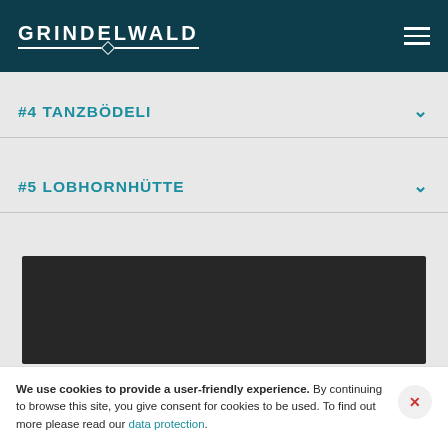GRINDELWALD
#4 TANZBÖDELI
#5 LOBHORNHÜTTE
[Figure (photo): Dark/black video placeholder box]
We use cookies to provide a user-friendly experience. By continuing to browse this site, you give consent for cookies to be used. To find out more please read our data protection.